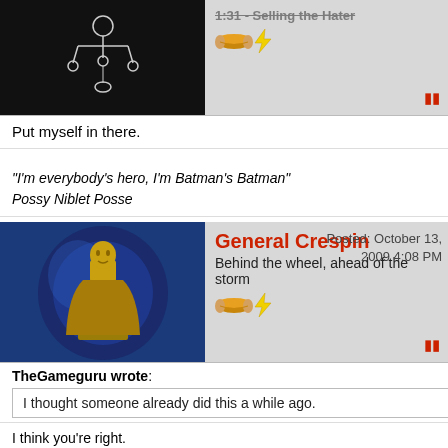[Figure (screenshot): Top partial forum post header with dark avatar and hotdog emoji icons, truncated username/title]
Put myself in there.
"I'm everybody's hero, I'm Batman's Batman" Possy Niblet Posse
[Figure (screenshot): General Crespin forum post header with gold statue avatar, username in red, subtitle 'Behind the wheel, ahead of the storm', posted October 13, 2009 4:08 PM]
TheGameguru wrote: I thought someone already did this a while ago.
I think you're right.
IN THE WAKE OF _FEDERATION_ THERE AROSE EMPIRE
[Figure (screenshot): misterglass forum post header with Tabula Rasa game avatar, username in red, subtitle 'Executive', posted October 13, 2009 4:09 PM]